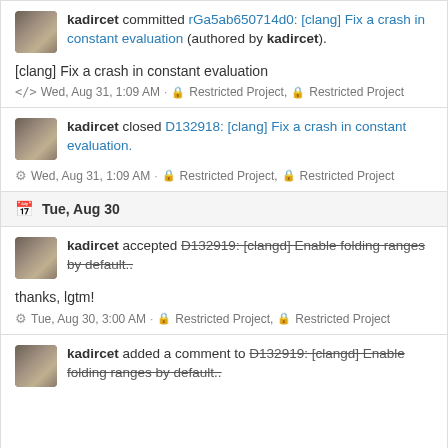kadircet committed rGa5ab650714d0: [clang] Fix a crash in constant evaluation (authored by kadircet).
[clang] Fix a crash in constant evaluation
</> Wed, Aug 31, 1:09 AM · 🔒 Restricted Project, 🔒 Restricted Project
kadircet closed D132918: [clang] Fix a crash in constant evaluation.
⚙ Wed, Aug 31, 1:09 AM · 🔒 Restricted Project, 🔒 Restricted Project
Tue, Aug 30
kadircet accepted D132919: [clangd] Enable folding ranges by default..
thanks, lgtm!
⚙ Tue, Aug 30, 3:00 AM · 🔒 Restricted Project, 🔒 Restricted Project
kadircet added a comment to D132919: [clangd] Enable folding ranges by default..